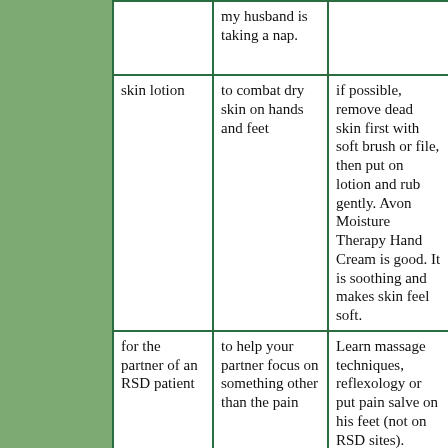|  | my husband is taking a nap. |  |
| skin lotion | to combat dry skin on hands and feet | if possible, remove dead skin first with soft brush or file, then put on lotion and rub gently. Avon Moisture Therapy Hand Cream is good. It is soothing and makes skin feel soft. |
| for the partner of an RSD patient | to help your partner focus on something other than the pain | Learn massage techniques, reflexology or put pain salve on his feet (not on RSD sites). |
| Take a bath, or deeply soak the | While soaking try and stretch and move the | My docs recommend 2x per day for 30 min - for the soaking. Try |